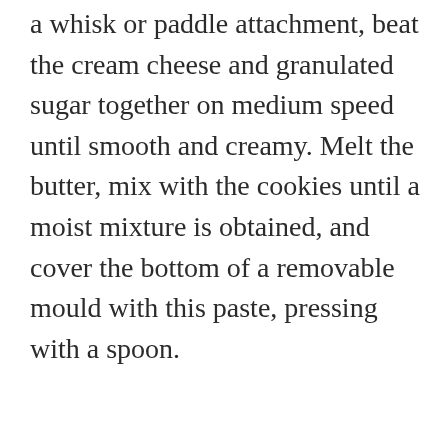a whisk or paddle attachment, beat the cream cheese and granulated sugar together on medium speed until smooth and creamy. Melt the butter, mix with the cookies until a moist mixture is obtained, and cover the bottom of a removable mould with this paste, pressing with a spoon.